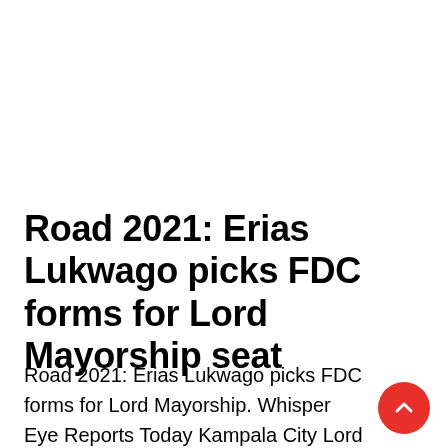Road 2021: Erias Lukwago picks FDC forms for Lord Mayorship seat
Road 2021: Erias Lukwago picks FDC forms for Lord Mayorship. Whisper Eye Reports Today Kampala City Lord Mayor Al-hajji Ssalongo Erias